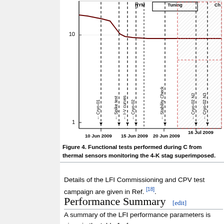[Figure (continuous-plot): Time-series chart showing functional tests performed during commissioning. X-axis shows dates from 10 Jun 2009 to 16 Jul 2009. Y-axis shows values from 1 to 10 (logarithmic). Vertical dashed lines and annotations mark: Cryo-01, Spike test, I-V curves, Cryo-02, Stability Check, Cryo-02 N2, Cryo-02 N3. A hatched region on the right. Labels at top: HYM, Tuning, CH.]
Figure 4. Functional tests performed during C from thermal sensors monitoring the 4-K stag superimposed.
Details of the LFI Commissioning and CPV test campaign are given in Ref. [18].
Performance Summary [edit]
A summary of the LFI performance parameters is given in the table 1 of